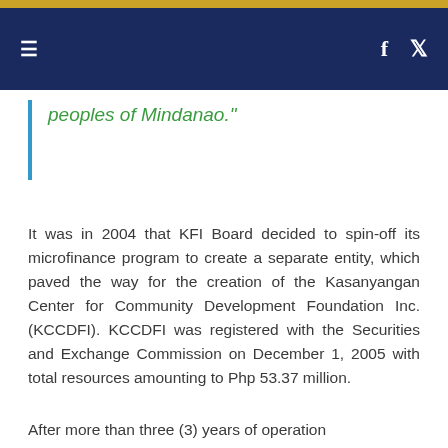≡   f  🐦
peoples of Mindanao."
It was in 2004 that KFI Board decided to spin-off its microfinance program to create a separate entity, which paved the way for the creation of the Kasanyangan Center for Community Development Foundation Inc. (KCCDFI). KCCDFI was registered with the Securities and Exchange Commission on December 1, 2005 with total resources amounting to Php 53.37 million.
After more than three (3) years of operation